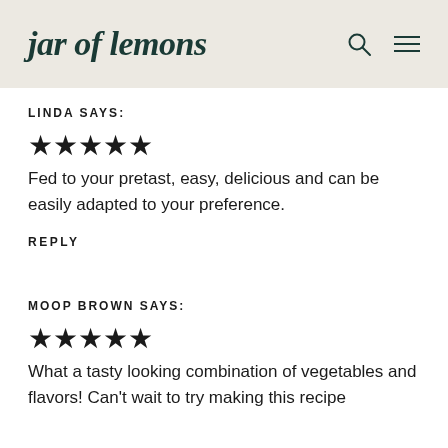jar of lemons
LINDA SAYS:
★★★★★
Fed to your pretast, easy, delicious and can be easily adapted to your preference.
REPLY
MOOP BROWN SAYS:
★★★★★
What a tasty looking combination of vegetables and flavors! Can't wait to try making this recipe